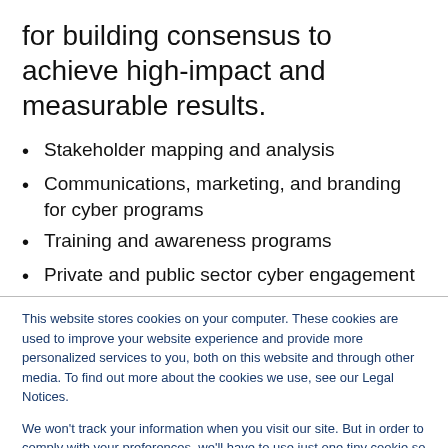for building consensus to achieve high-impact and measurable results.
Stakeholder mapping and analysis
Communications, marketing, and branding for cyber programs
Training and awareness programs
Private and public sector cyber engagement
This website stores cookies on your computer. These cookies are used to improve your website experience and provide more personalized services to you, both on this website and through other media. To find out more about the cookies we use, see our Legal Notices.
We won't track your information when you visit our site. But in order to comply with your preferences, we'll have to use just one tiny cookie so that you're not asked to make this choice again.